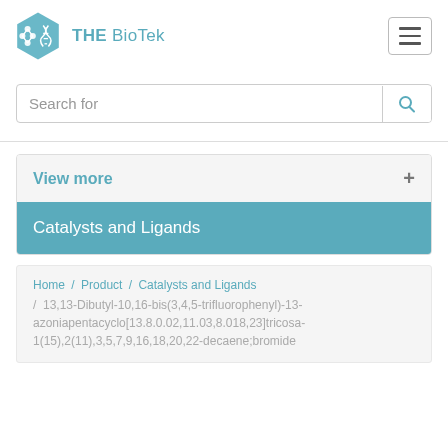[Figure (logo): THE BioTek hexagonal logo with molecular and DNA icons in light blue, with text 'THE BioTek' beside it]
Search for
View more
Catalysts and Ligands
Home / Product / Catalysts and Ligands / 13,13-Dibutyl-10,16-bis(3,4,5-trifluorophenyl)-13-azoniapentacyclo[13.8.0.02,11.03,8.018,23]tricosa-1(15),2(11),3,5,7,9,16,18,20,22-decaene;bromide